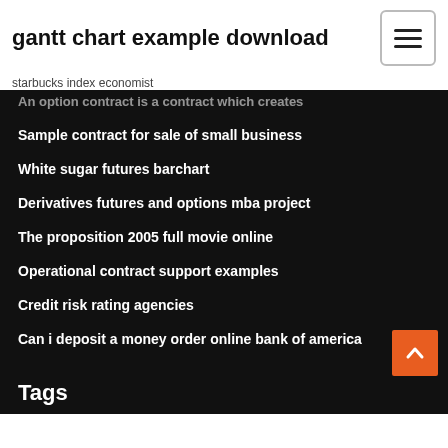gantt chart example download
starbucks index economist
An option contract is a contract which creates
Sample contract for sale of small business
White sugar futures barchart
Derivatives futures and options mba project
The proposition 2005 full movie online
Operational contract support examples
Credit risk rating agencies
Can i deposit a money order online bank of america
Tags